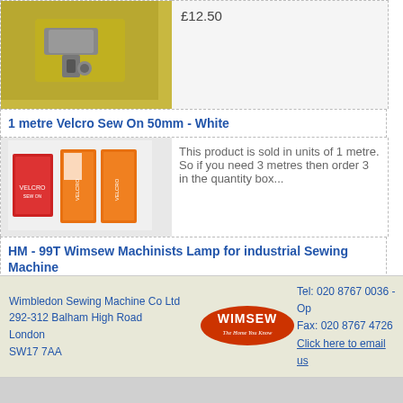[Figure (photo): Metal sewing machine part on yellow background]
£12.50
1 metre Velcro Sew On 50mm - White
[Figure (photo): Velcro sew on product packaging - orange and white boxes]
This product is sold in units of 1 metre. So if you need 3 metres then order 3 in the quantity box...
HM - 99T Wimsew Machinists Lamp for industrial Sewing Machine
[Figure (photo): Wimsew machinists lamp product image]
find out more
£35.00
Wimbledon Sewing Machine Co Ltd
292-312 Balham High Road
London
SW17 7AA
Tel: 020 8767 0036 - Op
Fax: 020 8767 4726
Click here to email us